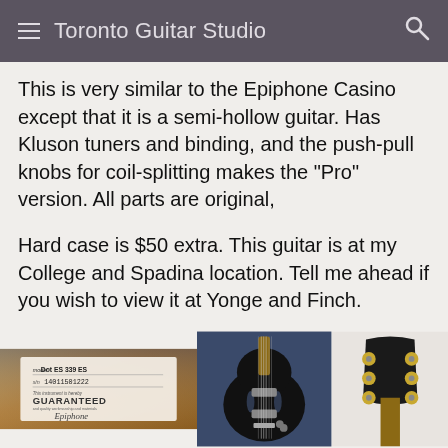Toronto Guitar Studio
This is very similar to the Epiphone Casino except that it is a semi-hollow guitar. Has Kluson tuners and binding, and the push-pull knobs for coil-splitting makes the "Pro" version. All parts are original,
Hard case is $50 extra. This guitar is at my College and Spadina location. Tell me ahead if you wish to view it at Yonge and Finch.
[Figure (photo): Close-up of Epiphone guitar label reading 'Dot ES 339 ES', serial number '14011501222', text 'This instrument is hereby GUARANTEED' and 'Epiphone']
[Figure (photo): Front view of a black semi-hollow Epiphone ES-339 electric guitar body]
[Figure (photo): Back of guitar headstock showing gold Kluson tuners]